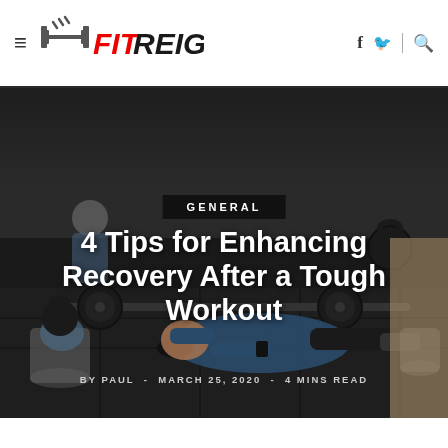FIT REIGNS
[Figure (photo): Person lying exhausted on a gym floor surrounded by barbells and kettlebells after a tough workout]
GENERAL
4 Tips for Enhancing Recovery After a Tough Workout
BY PAUL - MARCH 25, 2020 - 4 MINS READ